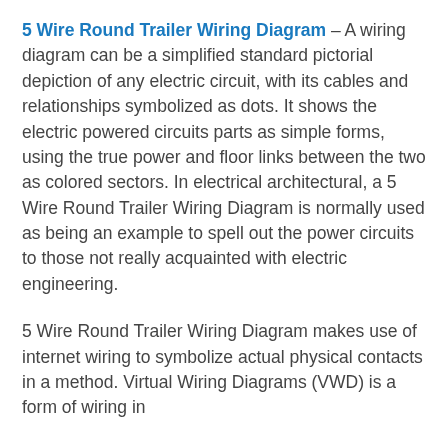5 Wire Round Trailer Wiring Diagram – A wiring diagram can be a simplified standard pictorial depiction of any electric circuit, with its cables and relationships symbolized as dots. It shows the electric powered circuits parts as simple forms, using the true power and floor links between the two as colored sectors. In electrical architectural, a 5 Wire Round Trailer Wiring Diagram is normally used as being an example to spell out the power circuits to those not really acquainted with electric engineering.
5 Wire Round Trailer Wiring Diagram makes use of internet wiring to symbolize actual physical contacts in a method. Virtual Wiring Diagrams (VWD) is a form of wiring in...